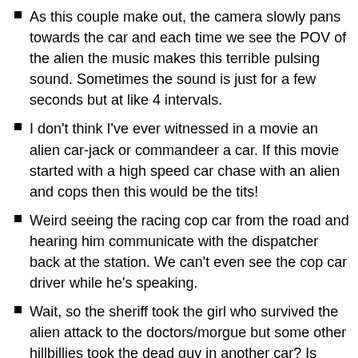As this couple make out, the camera slowly pans towards the car and each time we see the POV of the alien the music makes this terrible pulsing sound. Sometimes the sound is just for a few seconds but at like 4 intervals.
I don't think I've ever witnessed in a movie an alien car-jack or commandeer a car. If this movie started with a high speed car chase with an alien and cops then this would be the tits!
Weird seeing the racing cop car from the road and hearing him communicate with the dispatcher back at the station. We can't even see the cop car driver while he's speaking.
Wait, so the sheriff took the girl who survived the alien attack to the doctors/morgue but some other hillbillies took the dead guy in another car? Is there no ambulance in this town?